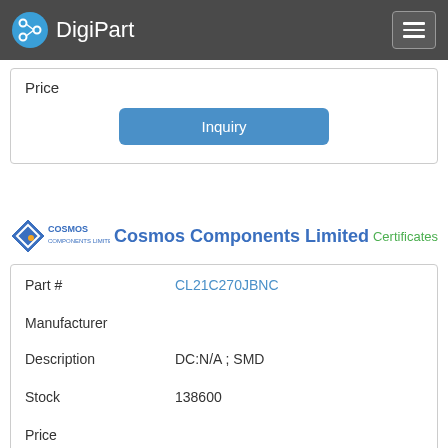DigiPart
Price
Inquiry
[Figure (logo): Cosmos Components Limited logo with diamond shape icon]
Cosmos Components Limited
Certificates
| Field | Value |
| --- | --- |
| Part # | CL21C270JBNC |
| Manufacturer |  |
| Description | DC:N/A ; SMD |
| Stock | 138600 |
| Price |  |